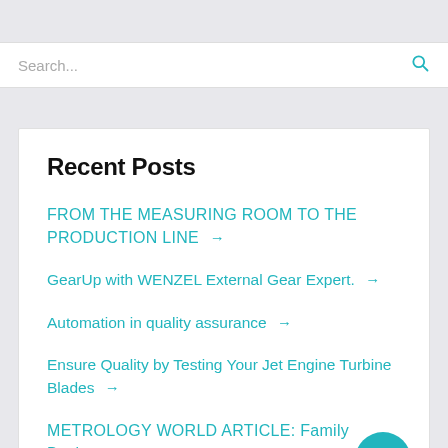[Figure (screenshot): Gray top bar area of a website]
[Figure (screenshot): Search bar with placeholder text 'Search...' and teal search icon on the right]
Recent Posts
FROM THE MEASURING ROOM TO THE PRODUCTION LINE →
GearUp with WENZEL External Gear Expert. →
Automation in quality assurance →
Ensure Quality by Testing Your Jet Engine Turbine Blades →
METROLOGY WORLD ARTICLE: Family Business →